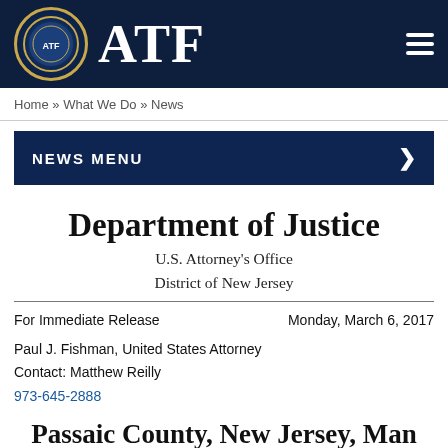ATF
Home » What We Do » News
NEWS MENU
Department of Justice
U.S. Attorney's Office
District of New Jersey
For Immediate Release    Monday, March 6, 2017
Paul J. Fishman, United States Attorney
Contact: Matthew Reilly
973-645-2888
Passaic County, New Jersey, Man Sentenced To Two Years In Prison For Illegally